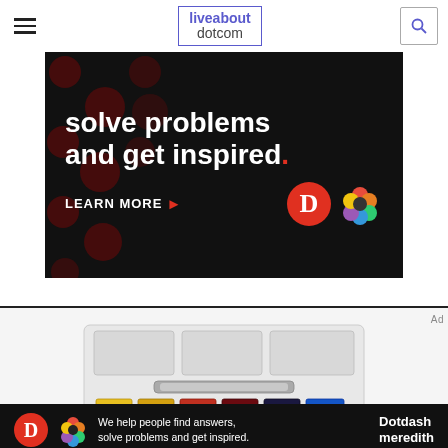liveabout dotcom
[Figure (screenshot): Dark advertisement banner with text 'solve problems and get inspired.' with LEARN MORE button, Dotdash and Meredith logos on black background with dark red dot pattern]
[Figure (photo): Watercolor paint palette with six paint pans in yellow, yellow-orange, red, dark red, dark blue/navy, and blue colors, with a metal mixing tray on white background]
[Figure (screenshot): Bottom advertisement banner: 'We help people find answers, solve problems and get inspired.' with Dotdash Meredith logo]